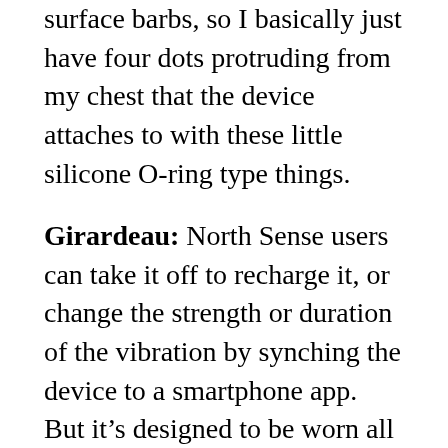surface barbs, so I basically just have four dots protruding from my chest that the device attaches to with these little silicone O-ring type things.
Girardeau: North Sense users can take it off to recharge it, or change the strength or duration of the vibration by synching the device to a smartphone app. But it's designed to be worn all the time.
Girardeau >> What was it about idea of having an artificial sense that attracted you the most?
Nic Fox >> It's a very natural innate human